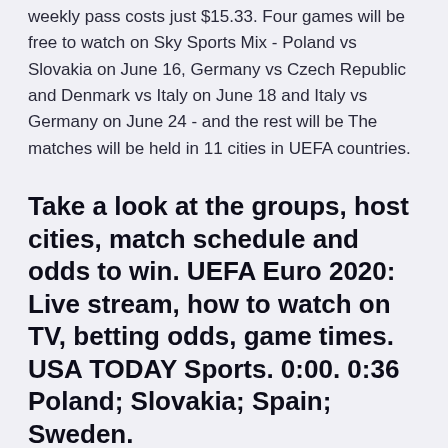weekly pass costs just $15.33. Four games will be free to watch on Sky Sports Mix - Poland vs Slovakia on June 16, Germany vs Czech Republic and Denmark vs Italy on June 18 and Italy vs Germany on June 24 - and the rest will be The matches will be held in 11 cities in UEFA countries.
Take a look at the groups, host cities, match schedule and odds to win. UEFA Euro 2020: Live stream, how to watch on TV, betting odds, game times. USA TODAY Sports. 0:00. 0:36 Poland; Slovakia; Spain; Sweden.